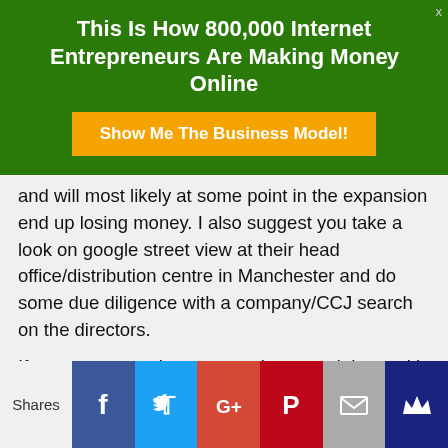This Is How 800,000 Internet Entrepreneurs Are Making Money Online
[Figure (other): Orange button: Show Me The Business Model!]
and will most likely at some point in the expansion end up losing money. I also suggest you take a look on google street view at their head office/distribution centre in Manchester and do some due diligence with a company/CCJ search on the directors.
If you want to make some real money doing multi level marketing or whatever they like to call it then why not start your own independent MLM company (just a few quid to register a company) you then just need to copy Treelike World's model with a plausible product (it doest
Shares [Facebook] [Twitter] [Google+] [Pinterest] [Email] [Crown]